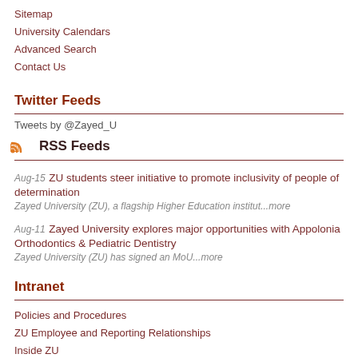Sitemap
University Calendars
Advanced Search
Contact Us
Twitter Feeds
Tweets by @Zayed_U
RSS Feeds
Aug-15 ZU students steer initiative to promote inclusivity of people of determination
Zayed University (ZU), a flagship Higher Education institut...more
Aug-11 Zayed University explores major opportunities with Appolonia Orthodontics & Pediatric Dentistry
Zayed University (ZU) has signed an MoU...more
Intranet
Policies and Procedures
ZU Employee and Reporting Relationships
Inside ZU
Downloads